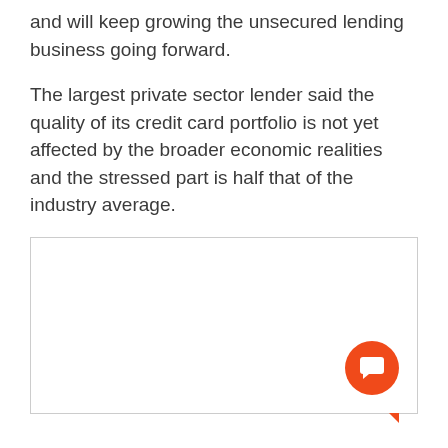and will keep growing the unsecured lending business going forward.
The largest private sector lender said the quality of its credit card portfolio is not yet affected by the broader economic realities and the stressed part is half that of the industry average.
[Figure (other): Empty white box with an orange chat/comment button in the bottom-right corner]